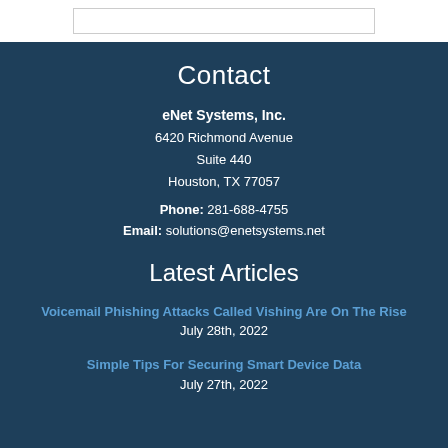Contact
eNet Systems, Inc.
6420 Richmond Avenue
Suite 440
Houston, TX 77057
Phone: 281-688-4755
Email: solutions@enetsystems.net
Latest Articles
Voicemail Phishing Attacks Called Vishing Are On The Rise
July 28th, 2022
Simple Tips For Securing Smart Device Data
July 27th, 2022